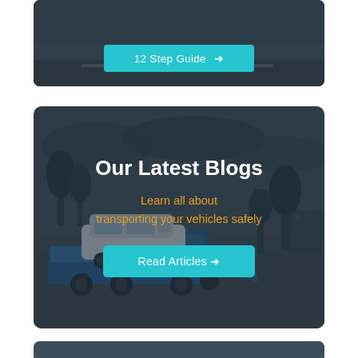[Figure (screenshot): Partial top card with teal button labeled '12 Step Guide →' on dark background]
[Figure (screenshot): Middle promotional card with an SUV loaded on a flatbed tow truck background. Dark overlay. Contains title 'Our Latest Blogs', subtitle 'Learn all about transporting your vehicles safely', and a teal 'Read Articles →' button.]
Our Latest Blogs
Learn all about transporting your vehicles safely
[Figure (screenshot): Partial bottom card visible, dark background, cropped at page bottom]